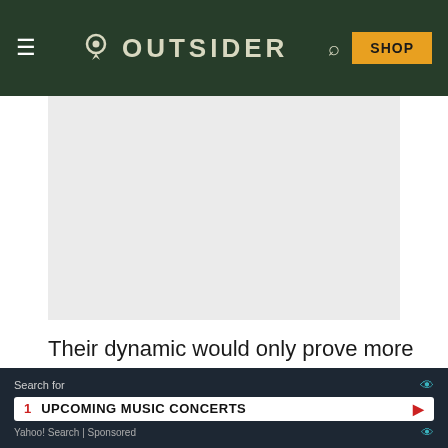OUTSIDER
[Figure (photo): Article image placeholder — light grey rectangle]
Their dynamic would only prove more interesting – and volatile – as the seasons rolled on, leading to one of the most
[Figure (screenshot): Yahoo Search ad banner: Search for UPCOMING MUSIC CONCERTS — Sponsored]